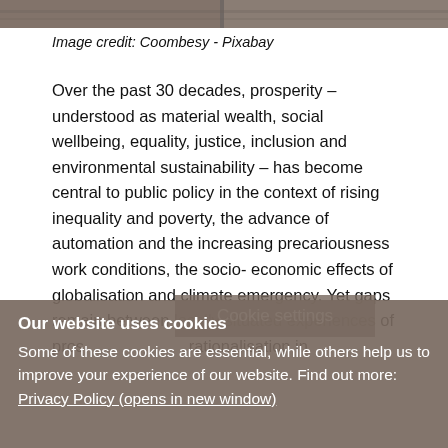[Figure (photo): Top portion of a textured stone or brick wall photograph, cropped at the top of the page.]
Image credit: Coombesy - Pixabay
Over the past 30 decades, prosperity – understood as material wealth, social wellbeing, equality, justice, inclusion and environmental sustainability – has become central to public policy in the context of rising inequality and poverty, the advance of automation and the increasing precariousness work conditions, the socio-economic effects of globalisation and climate emergency. Yet gaps remain between locally situated experiences of pros[perity] [and the] rationalisation in
Cookie settings
Our website uses cookies
Some of these cookies are essential, while others help us to improve your experience of our website. Find out more: Privacy Policy (opens in new window)